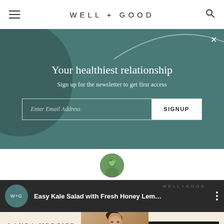WELL + GOOD
Your healthiest relationship
Sign up for the newsletter to get first access
Enter Email Address | SIGNUP
[Figure (photo): Circular author avatar photo of Kayla Hui]
Kayla Hui
March 8, 2021
Easy Kale Salad with Fresh Honey Lem…
[Figure (screenshot): Laura Mercier advertisement banner with model photo and SHOP NOW AT SEPHORA button]